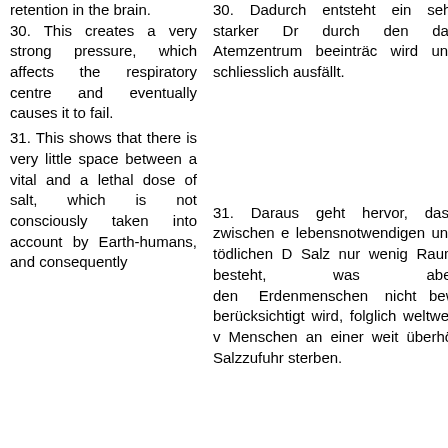retention in the brain.
30. This creates a very strong pressure, which affects the respiratory centre and eventually causes it to fail.
30. Dadurch entsteht ein sehr starker Dr durch den das Atemzentrum beeinträc wird und schliesslich ausfällt.
31. This shows that there is very little space between a vital and a lethal dose of salt, which is not consciously taken into account by Earth-humans, and consequently
31. Daraus geht hervor, dass zwischen e lebensnotwendigen und tödlichen D Salz nur wenig Raum besteht, was aber den Erdenmenschen nicht bew berücksichtigt wird, folglich weltweit v Menschen an einer weit überhöl Salzzufuhr sterben.